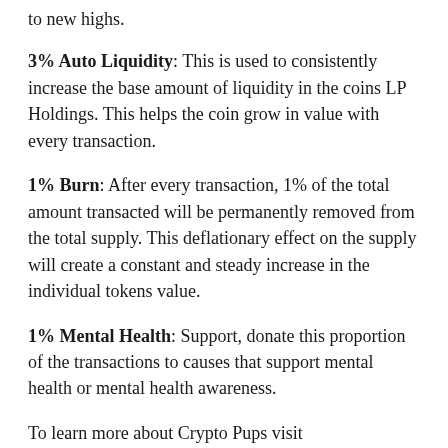to new highs.
3% Auto Liquidity: This is used to consistently increase the base amount of liquidity in the coins LP Holdings. This helps the coin grow in value with every transaction.
1% Burn: After every transaction, 1% of the total amount transacted will be permanently removed from the total supply. This deflationary effect on the supply will create a constant and steady increase in the individual tokens value.
1% Mental Health: Support, donate this proportion of the transactions to causes that support mental health or mental health awareness.
To learn more about Crypto Pups visit cryptopups.cash
Telegram : https://t.me/cryptopupsofficial